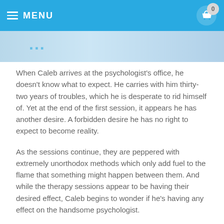MENU
[Figure (photo): Partial image visible at top of content area below header, appears to be a book cover or promotional image with blue tones]
When Caleb arrives at the psychologist's office, he doesn't know what to expect. He carries with him thirty-two years of troubles, which he is desperate to rid himself of. Yet at the end of the first session, it appears he has another desire. A forbidden desire he has no right to expect to become reality.
As the sessions continue, they are peppered with extremely unorthodox methods which only add fuel to the flame that something might happen between them. And while the therapy sessions appear to be having their desired effect, Caleb begins to wonder if he's having any effect on the handsome psychologist.
Something tells him he is. But isn't it forbidden for a mental health professional to have romantic